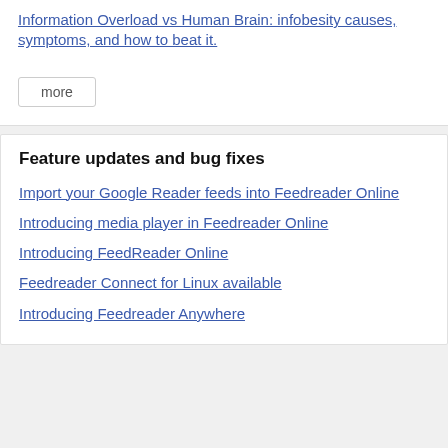Information Overload vs Human Brain: infobesity causes, symptoms, and how to beat it.
more
Feature updates and bug fixes
Import your Google Reader feeds into Feedreader Online
Introducing media player in Feedreader Online
Introducing FeedReader Online
Feedreader Connect for Linux available
Introducing Feedreader Anywhere